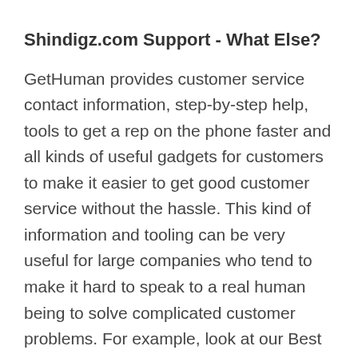Shindigz.com Support - What Else?
GetHuman provides customer service contact information, step-by-step help, tools to get a rep on the phone faster and all kinds of useful gadgets for customers to make it easier to get good customer service without the hassle. This kind of information and tooling can be very useful for large companies who tend to make it hard to speak to a real human being to solve complicated customer problems. For example, look at our Best Buy Customer Service page. Or take a look at our Hulu Customer Service page. We may not quite have as much of this available for Shindigz.com customer service issues or reviews, but we hope that you visit GetHuman again next time you have a problem with another company.